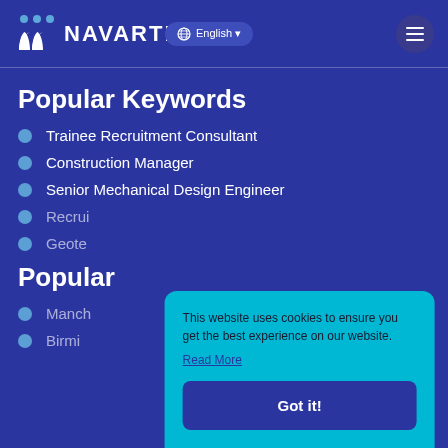Navartis — English language selector and navigation menu
Popular Keywords
Trainee Recruitment Consultant
Construction Manager
Senior Mechanical Design Engineer
Recrui...
Geote...
Popular...
Manch...
Birmi...
This website uses cookies to ensure you get the best experience on our website.
Read More
Got it!